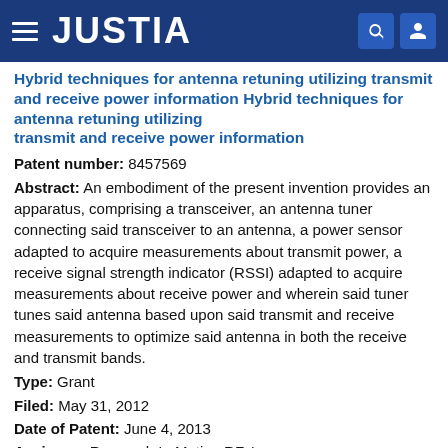JUSTIA
Hybrid techniques for antenna retuning utilizing transmit and receive power information
Patent number: 8457569
Abstract: An embodiment of the present invention provides an apparatus, comprising a transceiver, an antenna tuner connecting said transceiver to an antenna, a power sensor adapted to acquire measurements about transmit power, a receive signal strength indicator (RSSI) adapted to acquire measurements about receive power and wherein said tuner tunes said antenna based upon said transmit and receive measurements to optimize said antenna in both the receive and transmit bands.
Type: Grant
Filed: May 31, 2012
Date of Patent: June 4, 2013
Assignee: Research In Motion RF, Inc.